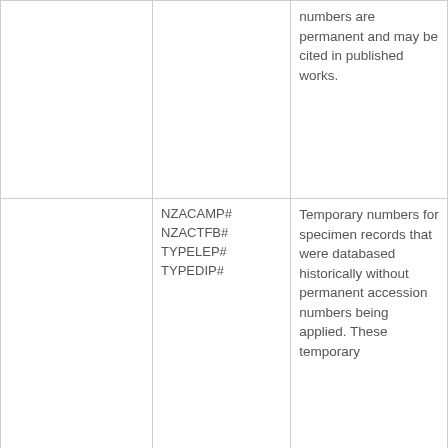|  |  | numbers are permanent and may be cited in published works. |
|  | NZACAMP#
NZACTFB#
TYPELEP#
TYPEDIP# | Temporary numbers for specimen records that were databased historically without permanent accession numbers being applied. These temporary... |